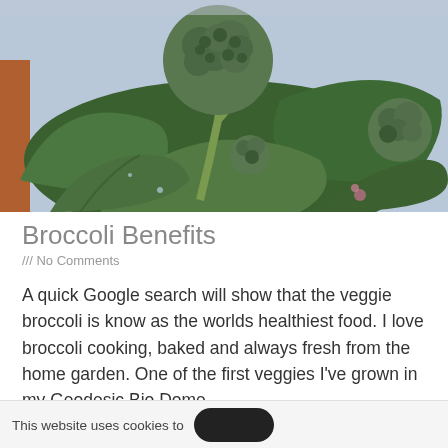[Figure (photo): Close-up photograph of broccoli plant with large green leaves and broccoli florets visible, taken in a garden setting]
Broccoli Benefits
/// No Comments
A quick Google search will show that the veggie broccoli is know as the worlds healthiest food. I love broccoli cooking, baked and always fresh from the home garden. One of the first veggies I've grown in my Geodesic Bio Dome....
Read More »
This website uses cookies to